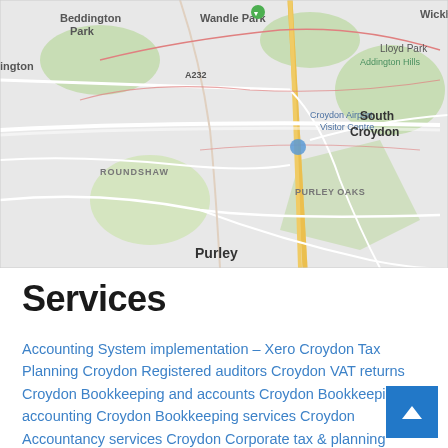[Figure (map): Google Maps screenshot showing Croydon area in London, UK. Visible locations include Beddington Park, Wandle Park, Museum of Croydon, Lloyd Park, Addington Hills, The Addington, Addington, Wickham, South Croydon, Croydon Airport Visitor Centre, Roundshaw, Purley Oaks, Selsdon, Purley, Selsdon Wood, New Addington. Roads include A232 and Purley Way.]
Services
Accounting System implementation – Xero Croydon Tax Planning Croydon Registered auditors Croydon VAT returns Croydon Bookkeeping and accounts Croydon Bookkeeping and accounting Croydon Bookkeeping services Croydon Accountancy services Croydon Corporate tax & planning Croydon